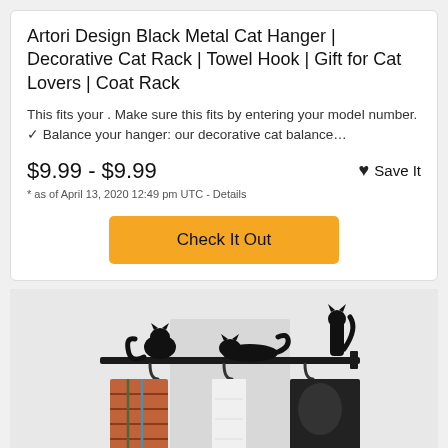Artori Design Black Metal Cat Hanger | Decorative Cat Rack | Towel Hook | Gift for Cat Lovers | Coat Rack
This fits your . Make sure this fits by entering your model number. ✓ Balance your hanger: our decorative cat balance…
$9.99 - $9.99
* as of April 13, 2020 12:49 pm UTC - Details
Save It
Check It Out
[Figure (photo): Photo of a black metal cat-shaped coat hanger/rack mounted on a wall with coats and towels hanging from it. Three black cat silhouettes decorate the top of the metal rod.]